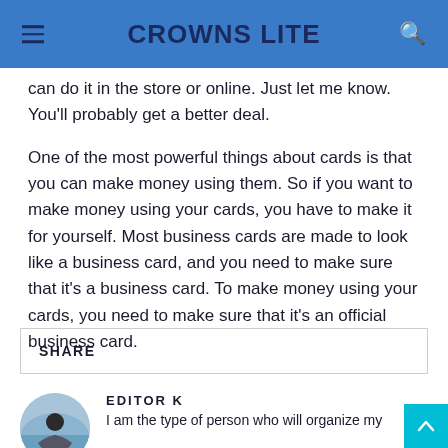CROWNS LITE
can do it in the store or online. Just let me know. You'll probably get a better deal.
One of the most powerful things about cards is that you can make money using them. So if you want to make money using your cards, you have to make it for yourself. Most business cards are made to look like a business card, and you need to make sure that it's a business card. To make money using your cards, you need to make sure that it's an official business card.
SHARE
EDITOR K
I am the type of person who will organize my